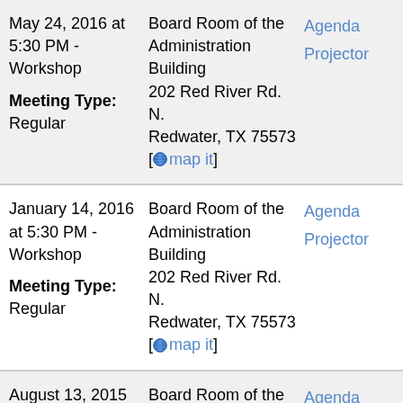| Date/Type | Location | Links |
| --- | --- | --- |
| May 24, 2016 at 5:30 PM - Workshop
Meeting Type: Regular | Board Room of the Administration Building
202 Red River Rd. N.
Redwater, TX 75573 [map it] | Agenda
Projector |
| January 14, 2016 at 5:30 PM - Workshop
Meeting Type: Regular | Board Room of the Administration Building
202 Red River Rd. N.
Redwater, TX 75573 [map it] | Agenda
Projector |
| August 13, 2015 at 5:30 PM - Workshop | Board Room of the Administration Building | Agenda
Projector |